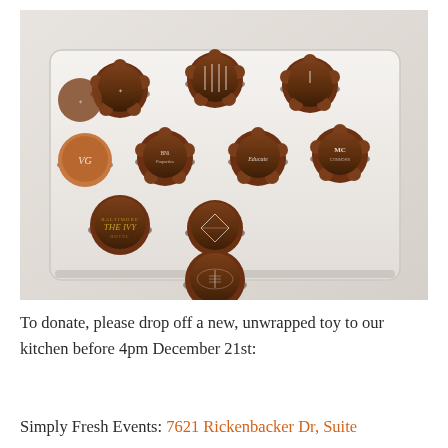[Figure (photo): A white tray holding multiple round/flower-shaped chocolate pieces, each decorated with various printed logos and designs including BNI Properties, Educate, The Ivy Hotel Baltimore, and other brand logos.]
To donate, please drop off a new, unwrapped toy to our kitchen before 4pm December 21st:
Simply Fresh Events: 7621 Rickenbacker Dr, Suite